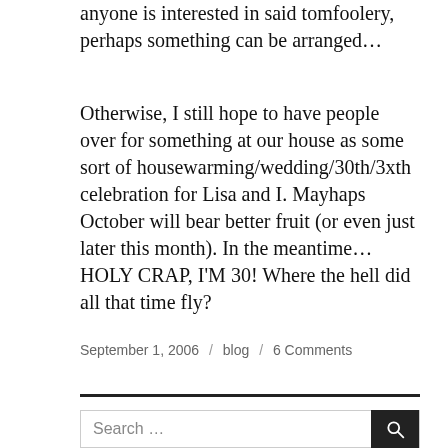anyone is interested in said tomfoolery, perhaps something can be arranged…
Otherwise, I still hope to have people over for something at our house as some sort of housewarming/wedding/30th/3xth celebration for Lisa and I. Mayhaps October will bear better fruit (or even just later this month). In the meantime… HOLY CRAP, I'M 30! Where the hell did all that time fly?
September 1, 2006 / blog / 6 Comments